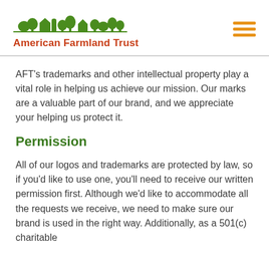American Farmland Trust
AFT's trademarks and other intellectual property play a vital role in helping us achieve our mission. Our marks are a valuable part of our brand, and we appreciate your helping us protect it.
Permission
All of our logos and trademarks are protected by law, so if you'd like to use one, you'll need to receive our written permission first. Although we'd like to accommodate all the requests we receive, we need to make sure our brand is used in the right way. Additionally, as a 501(c) charitable